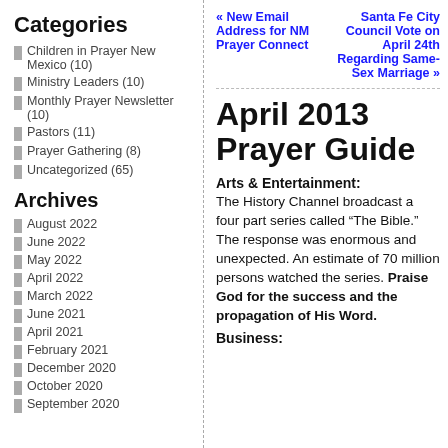Categories
Children in Prayer New Mexico (10)
Ministry Leaders (10)
Monthly Prayer Newsletter (10)
Pastors (11)
Prayer Gathering (8)
Uncategorized (65)
Archives
August 2022
June 2022
May 2022
April 2022
March 2022
June 2021
April 2021
February 2021
December 2020
October 2020
September 2020
« New Email Address for NM Prayer Connect
Santa Fe City Council Vote on April 24th Regarding Same-Sex Marriage »
April 2013 Prayer Guide
Arts & Entertainment:
The History Channel broadcast a four part series called “The Bible.”  The response was enormous and unexpected.  An estimate of 70 million persons watched the series. Praise God for the success and the propagation of His Word.
Business: